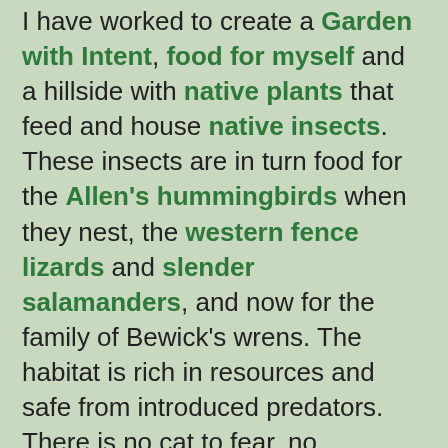I have worked to create a Garden with Intent, food for myself and a hillside with native plants that feed and house native insects. These insects are in turn food for the Allen's hummingbirds when they nest, the western fence lizards and slender salamanders, and now for the family of Bewick's wrens. The habitat is rich in resources and safe from introduced predators. There is no cat to fear, no pesticides to weaken tiny youngsters.
The pair of wrens were leading their three chicks on a morning of discovery and I got to watch.
Oh, and Dad had a reason to be resting up yesterday, he was leading the way.